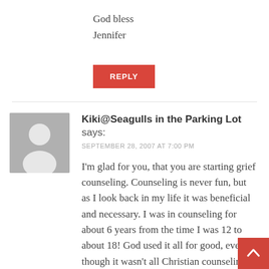God bless
Jennifer
REPLY
Kiki@Seagulls in the Parking Lot says:
SEPTEMBER 28, 2007 AT 7:00 PM
I'm glad for you, that you are starting grief counseling. Counseling is never fun, but as I look back in my life it was beneficial and necessary. I was in counseling for about 6 years from the time I was 12 to about 18! God used it all for good, even though it wasn't all Christian counselin… say all this to say, good for you, reach…